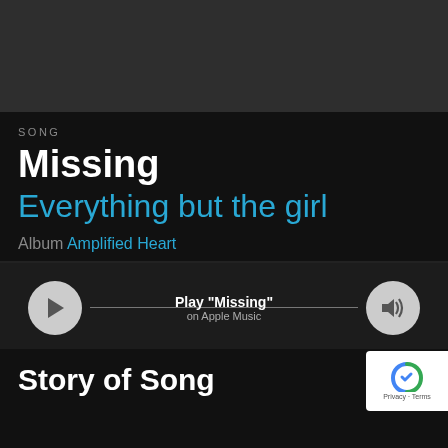[Figure (photo): Dark grey/charcoal image area at the top of the page]
SONG
Missing
Everything but the girl
Album Amplified Heart
[Figure (other): Apple Music player bar with play button, 'Play "Missing"' text, 'on Apple Music' subtext, and volume button]
Story of Song